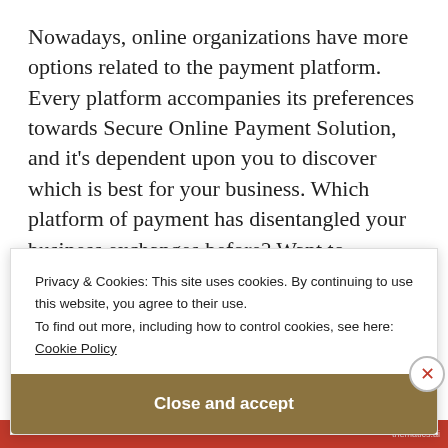Nowadays, online organizations have more options related to the payment platform. Every platform accompanies its preferences towards Secure Online Payment Solution, and it’s dependent upon you to discover which is best for your business. Which platform of payment has disentangled your business exchanges before? Want to experience the fate of payment with the simplest coordination,
Privacy & Cookies: This site uses cookies. By continuing to use this website, you agree to their use.
To find out more, including how to control cookies, see here:
Cookie Policy
Close and accept